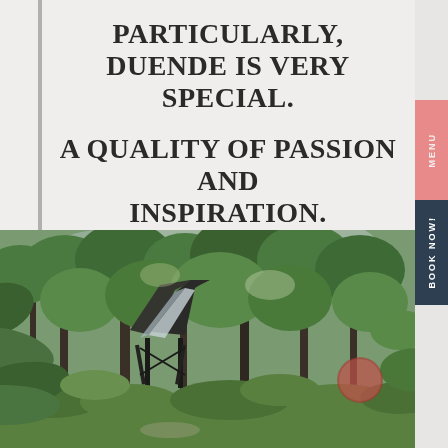PARTICULARLY, DUENDE IS VERY SPECIAL. A QUALITY OF PASSION AND INSPIRATION.
[Figure (photo): A-frame cabin or treehouse structure with dark roof surrounded by lush green forest trees and vegetation, natural outdoor setting]